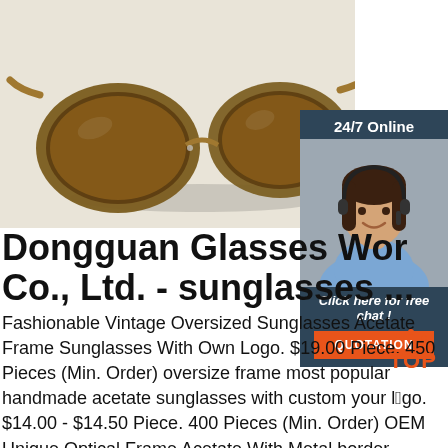[Figure (photo): Amber/tortoise acetate round vintage sunglasses with brown lenses on a light grey-white background]
[Figure (infographic): 24/7 Online chat widget with female customer service agent wearing a headset, dark navy background, italic text 'Click here for free chat!' and orange QUOTATION button]
Dongguan Glasses Wor Co., Ltd. - sunglasses ...
Fashionable Vintage Oversized Sunglasses Acetate Frame Sunglasses With Own Logo. $19.00 Piece. 450 Pieces (Min. Order) oversize frame most popular handmade acetate sunglasses with custom your logo. $14.00 - $14.50 Piece. 400 Pieces (Min. Order) OEM Unique Optical Frame Acetate With Metal border...